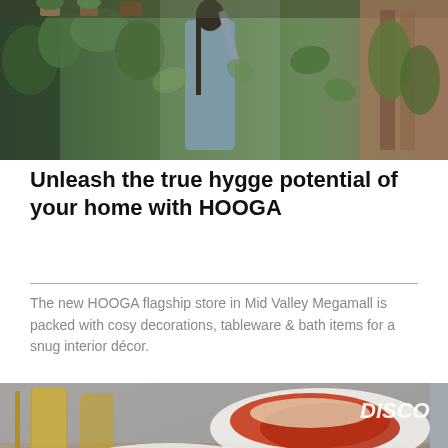[Figure (photo): A woman in a blue-grey jacket reaching among lush green tropical plants in an indoor plant shop]
Unleash the true hygge potential of your home with HOOGA
The new HOOGA flagship store in Mid Valley Megamall is packed with cosy decorations, tableware & bath items for a snug interior décor.
[Figure (photo): Food photograph showing red crawfish/crayfish dishes garnished with green onions on white plates, with glasses of beer in the background, partially showing a 'DISCO' text overlay in white]